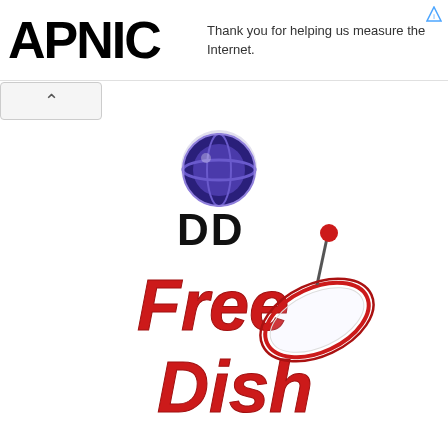[Figure (logo): APNIC logo — large bold black text 'APNIC']
Thank you for helping us measure the Internet.
[Figure (logo): DD Free Dish logo — satellite dish graphic with red stylized text 'Free Dish' and black 'DD' letters with blue DD network globe icon above]